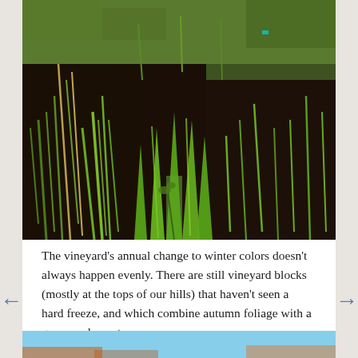[Figure (photo): Close-up photograph of vineyard ground showing green grass shoots and dark soil, with patches of green grass in sunlight]
The vineyard's annual change to winter colors doesn't always happen evenly. There are still vineyard blocks (mostly at the tops of our hills) that haven't seen a hard freeze, and which combine autumn foliage with a green undercoat:
[Figure (photo): Partial view of a second vineyard photo showing blue sky and autumn foliage at bottom of page]